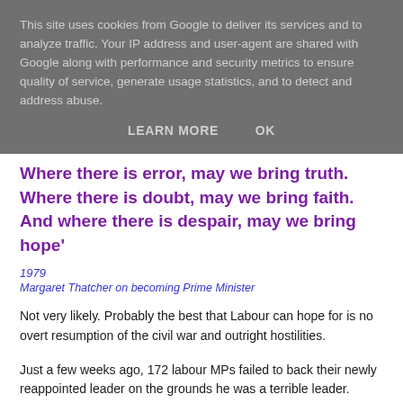This site uses cookies from Google to deliver its services and to analyze traffic. Your IP address and user-agent are shared with Google along with performance and security metrics to ensure quality of service, generate usage statistics, and to detect and address abuse.
LEARN MORE   OK
Where there is error, may we bring truth. Where there is doubt, may we bring faith. And where there is despair, may we bring hope'
1979
Margaret Thatcher on becoming Prime Minister
Not very likely. Probably the best that Labour can hope for is no overt resumption of the civil war and outright hostilities.
Just a few weeks ago, 172 labour MPs failed to back their newly reappointed leader on the grounds he was a terrible leader. their publicly expressed concern was not that he was a comedy-lefty